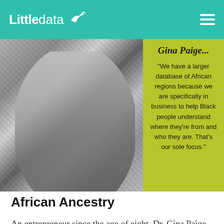Littledata
[Figure (photo): Black and white photo of Dr. Gina Paige wearing a patterned jacket, with a yellow-green overlay panel on the right containing her name and a quote about African Ancestry database.]
African Ancestry
An entrepreneur since the age of eight, Dr. Gina Paige pioneered a new way of tracing African